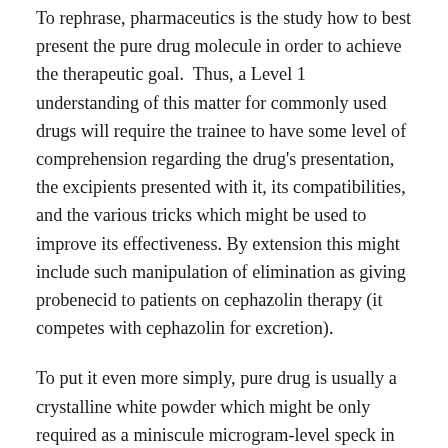To rephrase, pharmaceutics is the study how to best present the pure drug molecule in order to achieve the therapeutic goal.  Thus, a Level 1 understanding of this matter for commonly used drugs will require the trainee to have some level of comprehension regarding the drug's presentation, the excipients presented with it, its compatibilities, and the various tricks which might be used to improve its effectiveness. By extension this might include such manipulation of elimination as giving probenecid to patients on cephazolin therapy (it competes with cephazolin for excretion).
To put it even more simply, pure drug is usually a crystalline white powder which might be only required as a miniscule microgram-level speck in order to be effective, and the science of pharmaceutics is concerned with turning that raw chemical into a medication, ensuring that this miniscule speck is safely delivered to its target